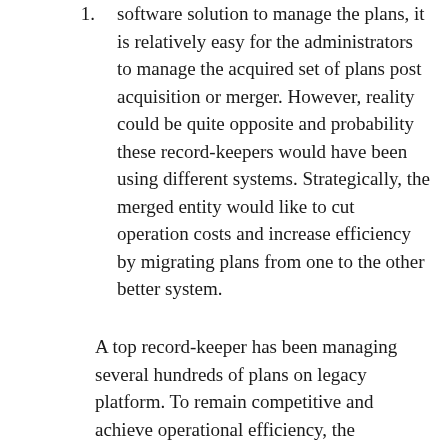1. software solution to manage the plans, it is relatively easy for the administrators to manage the acquired set of plans post acquisition or merger. However, reality could be quite opposite and probability these record-keepers would have been using different systems. Strategically, the merged entity would like to cut operation costs and increase efficiency by migrating plans from one to the other better system.
A top record-keeper has been managing several hundreds of plans on legacy platform. To remain competitive and achieve operational efficiency, the management decides to have a technologically advanced solution and migrate all the existing plans to